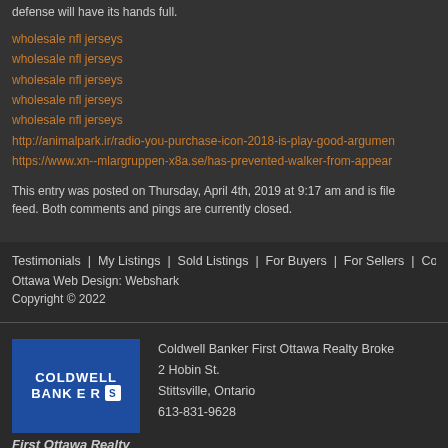defense will have its hands full.
wholesale nfl jerseys
wholesale nfl jerseys
wholesale nfl jerseys
wholesale nfl jerseys
wholesale nfl jerseys
http://animalpark.ir/radio-you-purchase-icon-2018-is-play-good-argumen...
https://www.xn--mlargruppen-x8a.se/has-prevented-walker-from-appear...
This entry was posted on Thursday, April 4th, 2019 at 9:17 am and is file... feed. Both comments and pings are currently closed.
Testimonials  My Listings  Sold Listings  For Buyers  For Sellers  Community Info  Contact D...
Ottawa Web Design: Webshark
Copyright © 2022
[Figure (logo): Coldwell Banker logo — blue rectangle with white text COLDWELL BANKER and a stylized S icon]
First Ottawa Realty
Brokerage
Coldwell Banker First Ottawa Realty Broker...
2 Hobin St.
Stittsville, Ontario
613-831-9628